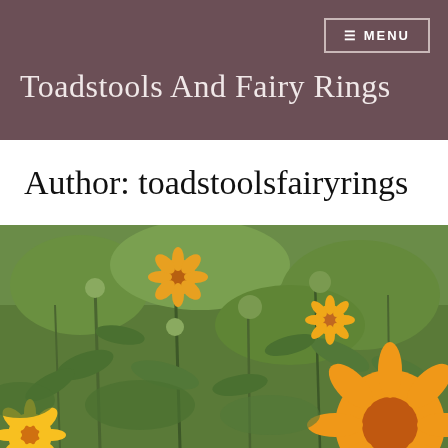Toadstools And Fairy Rings
Author: toadstoolsfairyrings
[Figure (photo): Close-up photograph of orange and yellow flowers (marigolds/calendula) growing among green stems and leaves in a garden setting.]